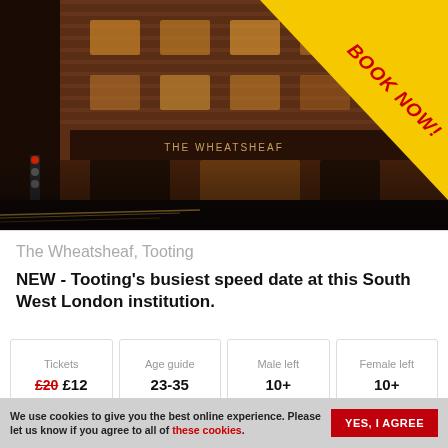[Figure (photo): Night-time exterior photo of The Wheatsheaf pub in Tooting, a Victorian red-brick corner building with illuminated signage and traffic light trails. A yellow diagonal 'BOOK NOW!' banner overlays the top-right corner.]
The Wheatsheaf, Tooting
NEW - Tooting's busiest speed date at this South West London institution.
| Tickets | Age guide | Male left | Female left |
| --- | --- | --- | --- |
| £20 £12 | 23-35 | 10+ | 10+ |
We use cookies to give you the best online experience. Please let us know if you agree to all of these cookies.